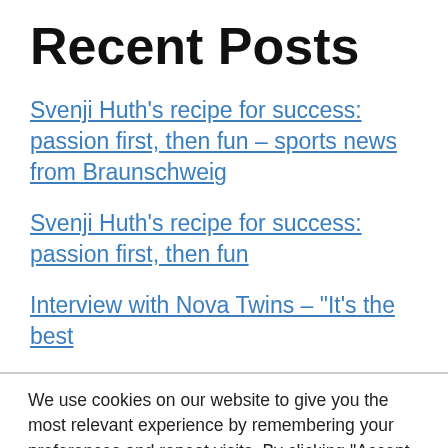Recent Posts
Svenji Huth's recipe for success: passion first, then fun – sports news from Braunschweig
Svenji Huth's recipe for success: passion first, then fun
Interview with Nova Twins – “It’s the best
We use cookies on our website to give you the most relevant experience by remembering your preferences and repeat visits. By clicking “Accept All”, you consent to the use of ALL the cookies. However, you may visit "Cookie Settings" to provide a controlled consent.